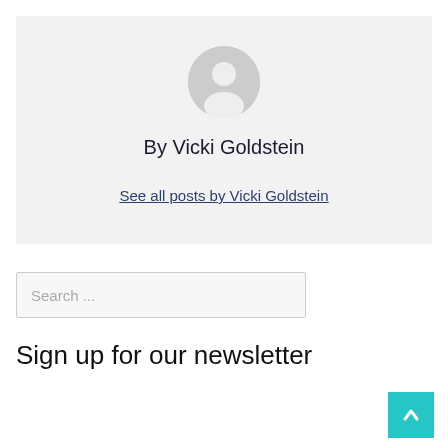[Figure (illustration): Generic user avatar icon — circular grey silhouette of a person on a light grey background]
By Vicki Goldstein
See all posts by Vicki Goldstein
Search ...
Sign up for our newsletter